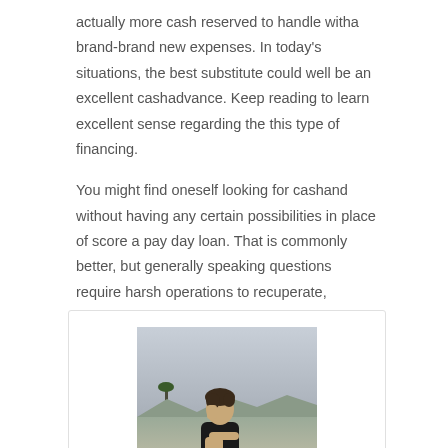actually more cash reserved to handle witha brand-brand new expenses. In today's situations, the best substitute could well be an excellent cashadvance. Keep reading to learn excellent sense regarding the this type of financing.
You might find oneself looking for cashand without having any certain possibilities in place of score a pay day loan. That is commonly better, but generally speaking questions require harsh operations to recuperate, provided you could quite easily look after in the place of taking out fully a payday loan. …
Read More »
[Figure (photo): A young person leaning on a surface outdoors, resting their head on their hand, with a desert landscape and sky in the background.]